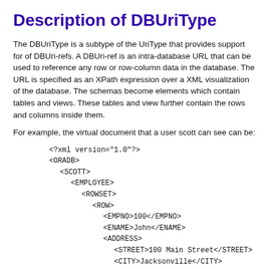Description of DBUriType
The DBUriType is a subtype of the UriType that provides support for of DBUri-refs. A DBUri-ref is an intra-database URL that can be used to reference any row or row-column data in the database. The URL is specified as an XPath expression over a XML visualization of the database. The schemas become elements which contain tables and views. These tables and view further contain the rows and columns inside them.
For example, the virtual document that a user scott can see can be:
<?xml version="1.0"?>
<ORADB>
  <SCOTT>
    <EMPLOYEE>
      <ROWSET>
        <ROW>
          <EMPNO>100</EMPNO>
          <ENAME>John</ENAME>
          <ADDRESS>
            <STREET>100 Main Street</STREET>
            <CITY>Jacksonville</CITY>
            <STATE>FL</STATE>
            <ZIP>32607</ZIP>
          </ADDRESS>
        </ROW>
      </ROWSET>